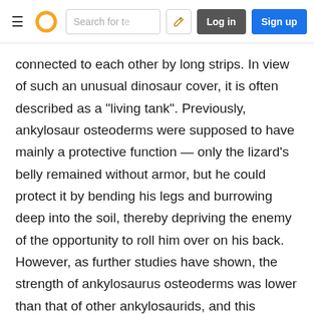Navigation bar with menu, logo, search, edit, log in, sign up
connected to each other by long strips. In view of such an unusual dinosaur cover, it is often described as a "living tank". Previously, ankylosaur osteoderms were supposed to have mainly a protective function — only the lizard's belly remained without armor, but he could protect it by bending his legs and burrowing deep into the soil, thereby depriving the enemy of the opportunity to roll him over on his back. However, as further studies have shown, the strength of ankylosaurus osteoderms was lower than that of other ankylosaurids, and this indicates that they performed ceremonial, masking or thermoregulatory functions rather than protective. Apparently, the armor of ankylosaurs and other ankylosaurids was not an obstacle for large theropods at all, and their main method of protection from predators was camouflage